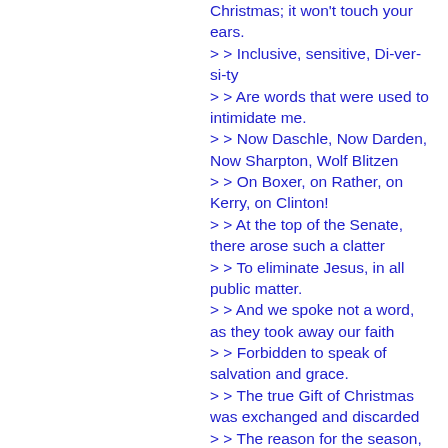Christmas; it won't touch your ears.
> > Inclusive, sensitive, Di-ver-si-ty
> > Are words that were used to intimidate me.
> > Now Daschle, Now Darden, Now Sharpton, Wolf Blitzen
> > On Boxer, on Rather, on Kerry, on Clinton!
> > At the top of the Senate, there arose such a clatter
> > To eliminate Jesus, in all public matter.
> > And we spoke not a word, as they took away our faith
> > Forbidden to speak of salvation and grace.
> > The true Gift of Christmas was exchanged and discarded
> > The reason for the season, stopped before it started.
> > So as you celebrate "Winter Break" under your "Holiday Tree"
> > Sipping your Starbucks, listen to me.
> > Choose your words carefully, choose what you say
> > Shout MERRY CHRISTMAS, not Happy Holiday!